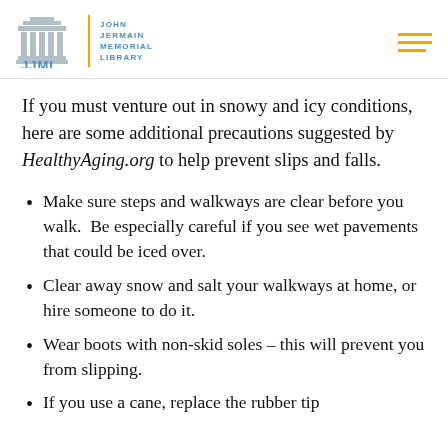JJML | JOHN JERMAIN MEMORIAL LIBRARY
If you must venture out in snowy and icy conditions, here are some additional precautions suggested by HealthyAging.org to help prevent slips and falls.
Make sure steps and walkways are clear before you walk.  Be especially careful if you see wet pavements that could be iced over.
Clear away snow and salt your walkways at home, or hire someone to do it.
Wear boots with non-skid soles – this will prevent you from slipping.
If you use a cane, replace the rubber tip